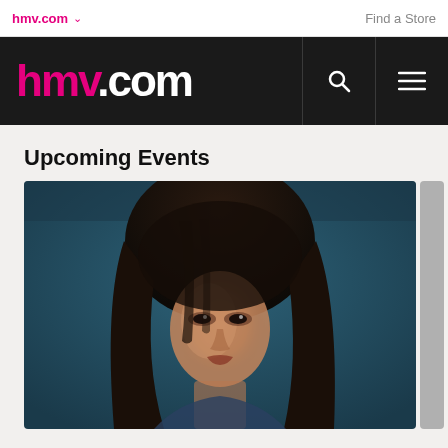hmv.com | Find a Store
[Figure (logo): hmv.com logo in pink and white on dark background with search and menu icons]
Upcoming Events
[Figure (photo): Portrait photo of a woman with dark hair against a dark teal/blue background, partially cropped]